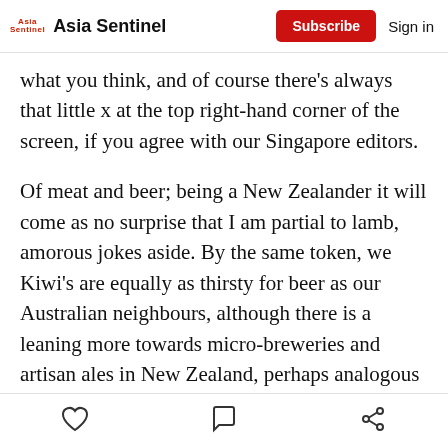Asia Sentinel | Subscribe | Sign in
what you think, and of course there's always that little x at the top right-hand corner of the screen, if you agree with our Singapore editors.
Of meat and beer; being a New Zealander it will come as no surprise that I am partial to lamb, amorous jokes aside. By the same token, we Kiwi's are equally as thirsty for beer as our Australian neighbours, although there is a leaning more towards micro-breweries and artisan ales in New Zealand, perhaps analogous with our strong English (Kentish, Cornwall) and Scottish ancestry, even if that is an eclectic and worrying ancestry.
Like | Comment | Share